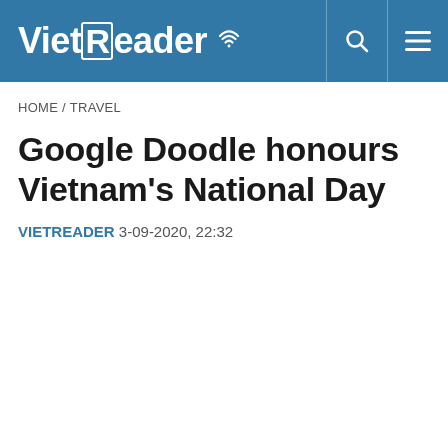VietReader
HOME / TRAVEL
Google Doodle honours Vietnam's National Day
VIETREADER 3-09-2020, 22:32